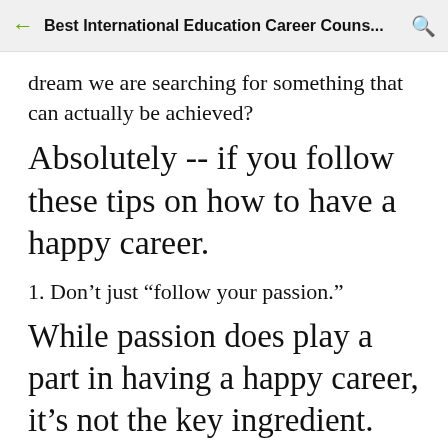Best International Education Career Couns...
dream we are searching for something that can actually be achieved?
Absolutely -- if you follow these tips on how to have a happy career.
1. Don’t just “follow your passion.”
While passion does play a part in having a happy career, it’s not the key ingredient. Just